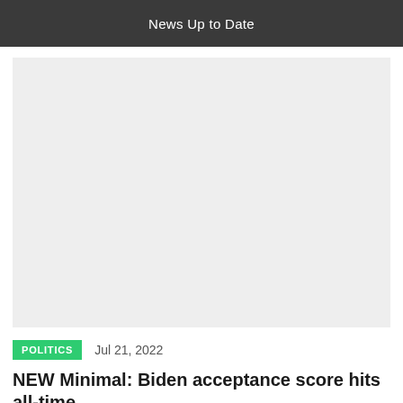News Up to Date
[Figure (photo): Large placeholder image area with light gray background]
POLITICS   Jul 21, 2022
NEW Minimal: Biden acceptance score hits all-time